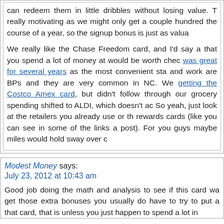can redeem them in little dribbles without losing value. T really motivating as we might only get a couple hundred the course of a year, so the signup bonus is just as valua We really like the Chase Freedom card, and I'd say a that you spend a lot of money at would be worth chec was great for several years as the most convenient sta and work are BPs and they are very common in NC. We getting the Costco Amex card, but didn't follow through our grocery spending shifted to ALDI, which doesn't ac So yeah, just look at the retailers you already use or th rewards cards (like you can see in some of the links a post). For you guys maybe miles would hold sway over c
Modest Money says: July 23, 2012 at 10:43 am
Good job doing the math and analysis to see if this card wa get those extra bonuses you usually do have to try to put a that card, that is unless you just happen to spend a lot in...